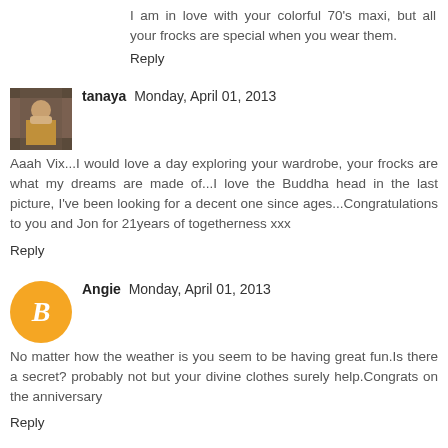I am in love with your colorful 70's maxi, but all your frocks are special when you wear them.
Reply
tanaya  Monday, April 01, 2013
Aaah Vix...I would love a day exploring your wardrobe, your frocks are what my dreams are made of...I love the Buddha head in the last picture, I've been looking for a decent one since ages...Congratulations to you and Jon for 21years of togetherness xxx
Reply
Angie  Monday, April 01, 2013
No matter how the weather is you seem to be having great fun.Is there a secret? probably not but your divine clothes surely help.Congrats on the anniversary
Reply